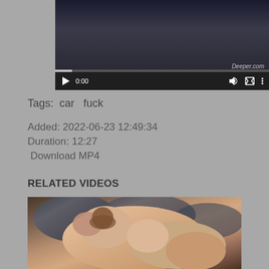[Figure (screenshot): Video player showing a dark scene with playback controls, progress bar, timestamp 0:00, volume, fullscreen, and menu icons. Watermark reads 'Deeper.com']
Tags:  car  fuck
Added: 2022-06-23 12:49:34
Duration: 12:27
Download MP4
RELATED VIDEOS
[Figure (photo): Thumbnail image of two people in an intimate scene on a bed with striped pillows]